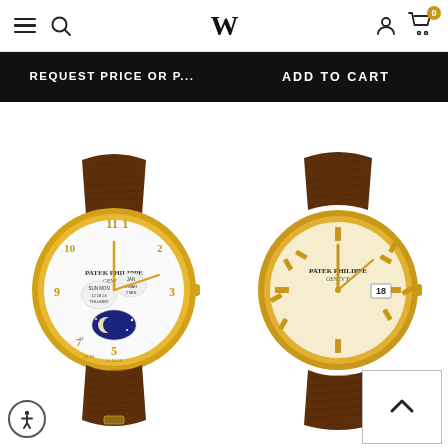W (logo), hamburger menu, search icon, user icon, cart (0)
REQUEST PRICE OR P...
ADD TO CART
[Figure (photo): Patek Philippe watch with perpetual calendar and moon phase complication, yellow gold case, brown leather strap, white dial with Arabic numerals]
[Figure (photo): Patek Philippe Calatrava watch, yellow gold case, brown leather strap, cream/champagne dial with baton indices, date window at 3 o'clock]